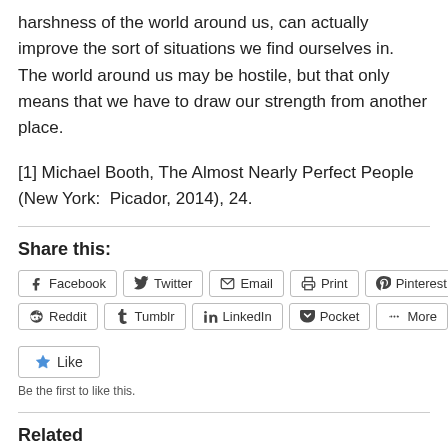harshness of the world around us, can actually improve the sort of situations we find ourselves in.  The world around us may be hostile, but that only means that we have to draw our strength from another place.
[1] Michael Booth, The Almost Nearly Perfect People (New York:  Picador, 2014), 24.
Share this:
Facebook  Twitter  Email  Print  Pinterest  Reddit  Tumblr  LinkedIn  Pocket  More
Like
Be the first to like this.
Related